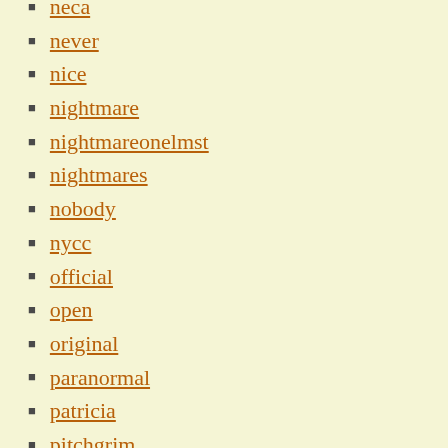neca
never
nice
nightmare
nightmareonelmst
nightmares
nobody
nycc
official
open
original
paranormal
patricia
pitchgrim
poppa
poverty
print
rare
rare-1988